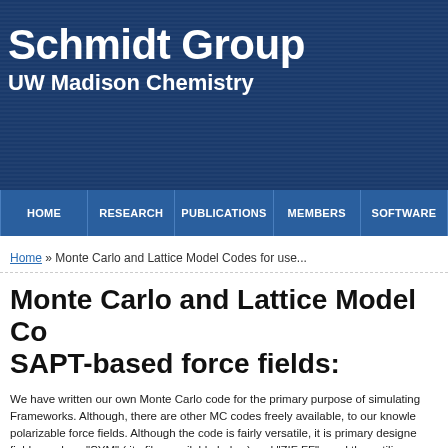Schmidt Group
UW Madison Chemistry
HOME | RESEARCH | PUBLICATIONS | MEMBERS | SOFTWARE
Home » Monte Carlo and Lattice Model Codes for use...
Monte Carlo and Lattice Model Codes with SAPT-based force fields:
We have written our own Monte Carlo code for the primary purpose of simulating Frameworks.  Although, there are other MC codes freely available, to our knowledge polarizable force fields.  Although the code is fairly versatile, it is primary designed fields, such as "SYM" (.itp files available below) and "ZIF FF" , and thus utilizes efficient simulation of polarizable solute gas molecules.  It incorporates shared m well as accurate and efficient treatments of long-range electrostatics and dispers treatment of both types of forces.